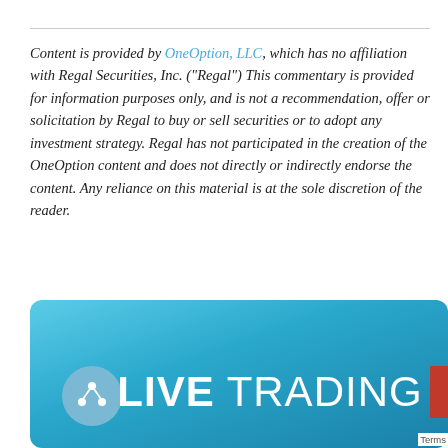Content is provided by OneOption, LLC, which has no affiliation with Regal Securities, Inc. ("Regal") This commentary is provided for information purposes only, and is not a recommendation, offer or solicitation by Regal to buy or sell securities or to adopt any investment strategy. Regal has not participated in the creation of the OneOption content and does not directly or indirectly endorse the content. Any reliance on this material is at the sole discretion of the reader.
[Figure (other): Blue gradient banner with 'LIVE TRADING' text in white, and a circular share button on the left]